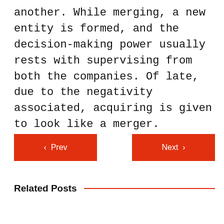another. While merging, a new entity is formed, and the decision-making power usually rests with supervising from both the companies. Of late, due to the negativity associated, acquiring is given to look like a merger.
‹ Prev
Next ›
Related Posts